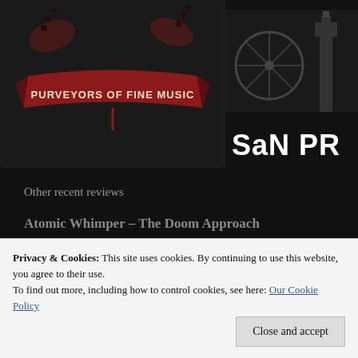[Figure (logo): Purveyors of Fine Music logo with decorative banner and musical instruments in dark red and black]
[Figure (logo): SaN PR logo with London skyline silhouette (Big Ben, London Eye) in black and white, with bold white text 'SaN PR']
Other recent reviews
Atomic Whimper – The Doom Approach
Pistols At Dawn – Ascension
Ruled By Raptors – Silent Sound
Privacy & Cookies: This site uses cookies. By continuing to use this website, you agree to their use.
To find out more, including how to control cookies, see here: Our Cookie Policy
Close and accept